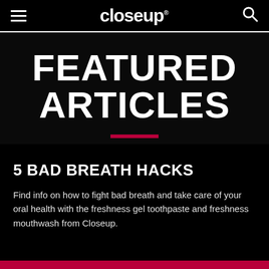closeup
FEATURED ARTICLES
5 BAD BREATH HACKS
Find info on how to fight bad breath and take care of your oral health with the freshness gel toothpaste and freshness mouthwash from Closeup.